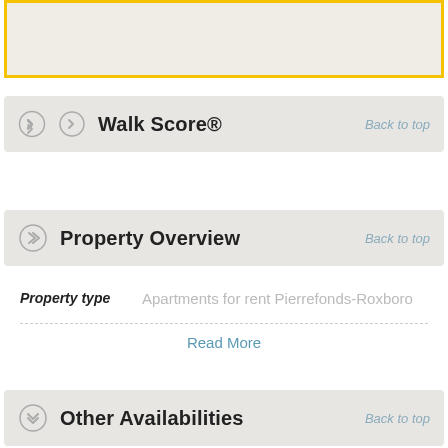[Figure (map): Partial map view with yellow border at top of page]
Walk Score®
Property Overview
Property type  Apartments for rent Pierrefonds-Roxboro
Read More
Other Availabilities